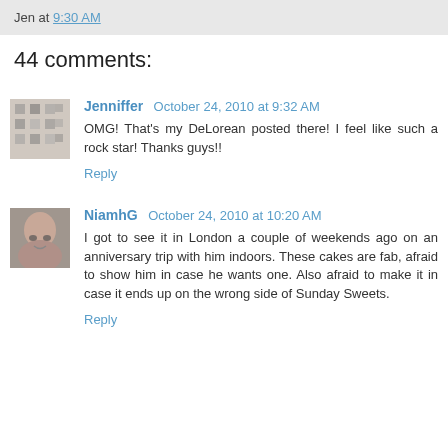Jen at 9:30 AM
44 comments:
Jenniffer October 24, 2010 at 9:32 AM
OMG! That's my DeLorean posted there! I feel like such a rock star! Thanks guys!!
Reply
NiamhG October 24, 2010 at 10:20 AM
I got to see it in London a couple of weekends ago on an anniversary trip with him indoors. These cakes are fab, afraid to show him in case he wants one. Also afraid to make it in case it ends up on the wrong side of Sunday Sweets.
Reply